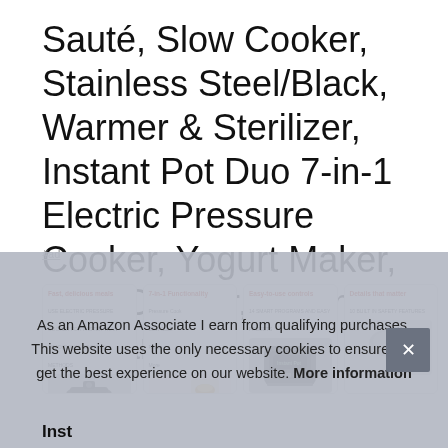Sauté, Slow Cooker, Stainless Steel/Black, Warmer & Sterilizer, Instant Pot Duo 7-in-1 Electric Pressure Cooker, Yogurt Maker, Rice Cooker, Steamer, 6 Quart
#ad
[Figure (screenshot): Four product image cards showing: 'Fast, delicious meals', '7-in-1 Functionality', 'Easy-to-use controls', 'Details that matter' — Amazon product listing images for Instant Pot Duo]
As an Amazon Associate I earn from qualifying purchases. This website uses the only necessary cookies to ensure you get the best experience on our website. More information
Inst